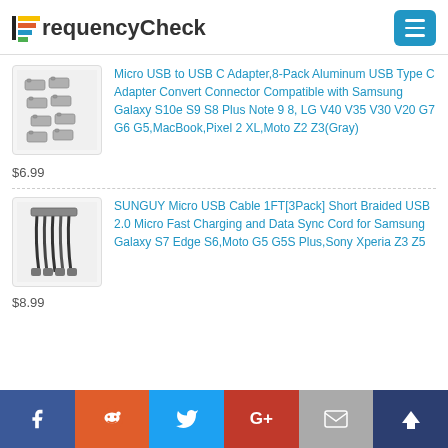FrequencyCheck
[Figure (photo): 8 gray USB-C to Micro USB adapters scattered on white background]
Micro USB to USB C Adapter,8-Pack Aluminum USB Type C Adapter Convert Connector Compatible with Samsung Galaxy S10e S9 S8 Plus Note 9 8, LG V40 V35 V30 V20 G7 G6 G5,MacBook,Pixel 2 XL,Moto Z2 Z3(Gray)
$6.99
[Figure (photo): Bundle of 3 short black micro USB cables with multiple connectors]
SUNGUY Micro USB Cable 1FT[3Pack] Short Braided USB 2.0 Micro Fast Charging and Data Sync Cord for Samsung Galaxy S7 Edge S6,Moto G5 G5S Plus,Sony Xperia Z3 Z5
$8.99
f  reddit  twitter  G+  email  crown